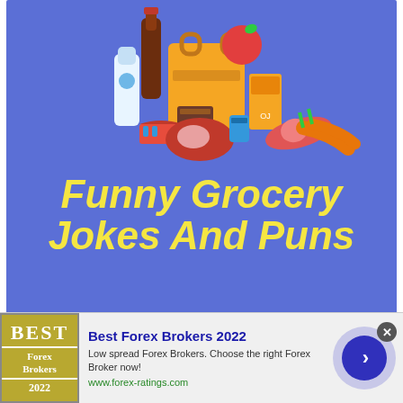[Figure (illustration): Blue background illustration showing grocery items: a grocery bag, wine bottle, milk bottle, chocolate box, juice box, sausage, steak/meat, carrots, and a cake. Below the illustration is bold italic yellow text reading 'Funny Grocery Jokes And Puns'.]
[Figure (infographic): Advertisement banner. Left side: gold/olive colored logo box with 'BEST Forex Brokers 2022' text. Center: ad text 'Best Forex Brokers 2022' in bold blue, 'Low spread Forex Brokers. Choose the right Forex Broker now!' in black, 'www.forex-ratings.com' in green. Right: circular blue button with right-pointing chevron.]